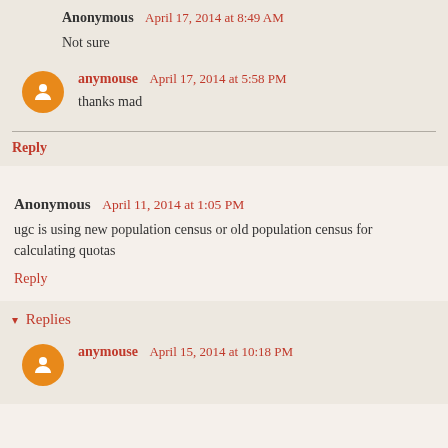Anonymous April 17, 2014 at 8:49 AM
Not sure
anymouse April 17, 2014 at 5:58 PM
thanks mad
Reply
Anonymous April 11, 2014 at 1:05 PM
ugc is using new population census or old population census for calculating quotas
Reply
Replies
anymouse April 15, 2014 at 10:18 PM